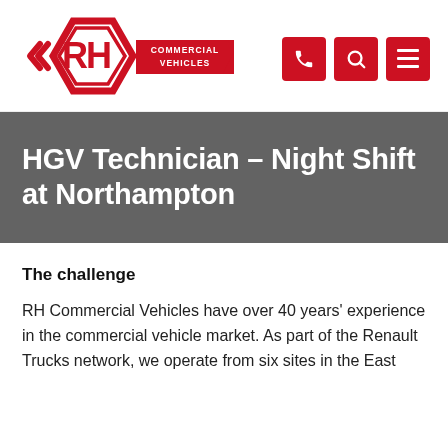[Figure (logo): RH Commercial Vehicles logo — red hexagon outline with RH letters inside, followed by 'COMMERCIAL VEHICLES' text in red]
[Figure (infographic): Three red square icon buttons: phone, search (magnifying glass), and hamburger menu]
HGV Technician – Night Shift at Northampton
The challenge
RH Commercial Vehicles have over 40 years' experience in the commercial vehicle market. As part of the Renault Trucks network, we operate from six sites in the East